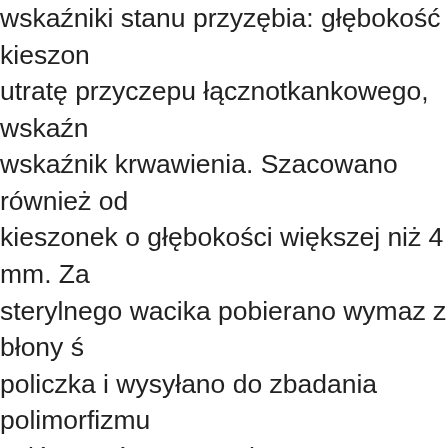wskaźniki stanu przyzębia: głębokość kieszon utratę przyczepu łącznotkankowego, wskaźn wskaźnik krwawienia. Szacowano również od kieszonek o głębokości większej niż 4 mm. Za sterylnego wacika pobierano wymaz z błony ś policzka i wysyłano do zbadania polimorfizmu celów porównawczych utworzono grupę kon ogólnie zdrowych osób, ze zdrowym przyzębi ją również badaniu klinicznemu i genetyczne Wyniki. 15 z 40 osób z grupy badanej zidentyfi posiadających pozytywny genotyp, definiowa nosicielstwo drugiego allelu zarówno IL-1A, ja grupie kontrolnej u 10 z 20 osób rozpoznano genotyp. Analiza regresji logistycznej nie wyka znaczącego wpływu pozytywnego genotypu n występowanie zapalenia przyzębia. Porównan wskaźników klinicznych w grupie badanej ró wykazało znaczących różnic między osobami